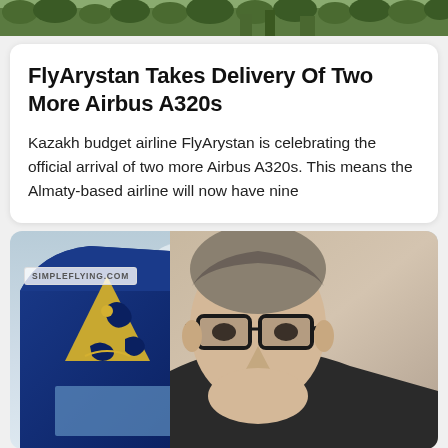[Figure (photo): Top strip showing a skyline with trees and buildings in the background]
FlyArystan Takes Delivery Of Two More Airbus A320s
Kazakh budget airline FlyArystan is celebrating the official arrival of two more Airbus A320s. This means the Almaty-based airline will now have nine
[Figure (photo): A man with glasses and grey hair smiling, with a blue Air Astana tail fin (featuring a golden ornamental symbol) visible in the background, and a SIMPLEFLYING.COM watermark overlay]